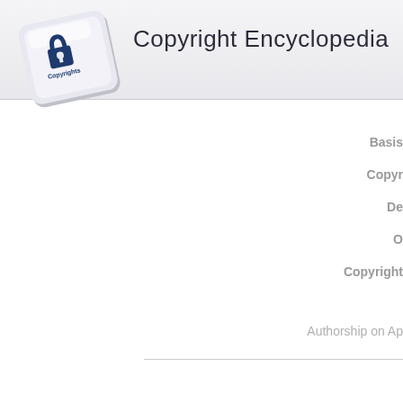[Figure (logo): A keyboard key button with a padlock/copyright icon and the word 'Copyrights' on it, rendered in 3D perspective]
Copyright Encyclopedia
Basis
Copyr
De
O
Copyright
Authorship on Ap